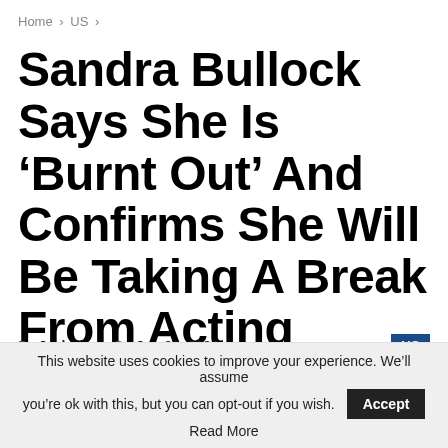Home > US >
Sandra Bullock Says She Is ‘Burnt Out’ And Confirms She Will Be Taking A Break From Acting
By Jacky — On Jun 21, 2022  US
This website uses cookies to improve your experience. We’ll assume you’re ok with this, but you can opt-out if you wish. Accept Read More